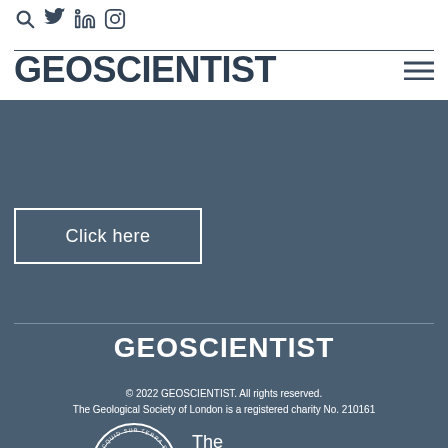[Figure (logo): Social media icons: search, Twitter, LinkedIn, Instagram]
GEOSCIENTIST
[Figure (logo): Hamburger menu icon]
Click here
[Figure (logo): GEOSCIENTIST footer logo in white bold text]
© 2022 GEOSCIENTIST. All rights reserved. The Geological Society of London is a registered charity No. 210161
[Figure (logo): The Geological Society logo - circular emblem with GS monogram and text 'The Geological Society']